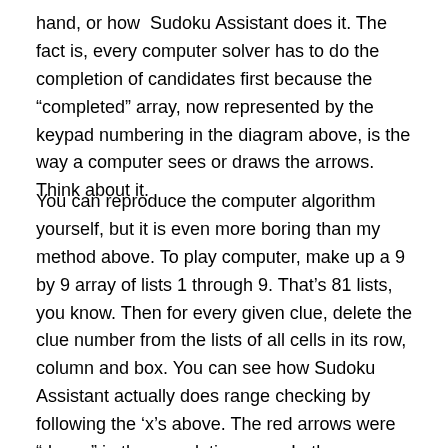hand, or how Sudoku Assistant does it. The fact is, every computer solver has to do the completion of candidates first because the “completed” array, now represented by the keypad numbering in the diagram above, is the way a computer sees or draws the arrows. Think about it.
You can reproduce the computer algorithm yourself, but it is even more boring than my method above. To play computer, make up a 9 by 9 array of lists 1 through 9. That’s 81 lists, you know. Then for every given clue, delete the clue number from the lists of all cells in its row, column and box. You can see how Sudoku Assistant actually does range checking by following the ‘x’s above. The red arrows were “drawn” in the completion scan. In the range checking scan, SA observes that the only 1’s are in NWr3, and consequently, it removes 1’s from cell lists along r3.